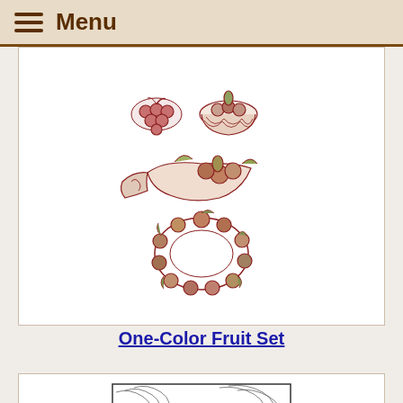Menu
[Figure (illustration): One-color fruit set illustration showing decorative fruit arrangements in dark red/brown ink on white background: fruit basket with grapes, cornucopia with fruits, and a wreath of fruits]
One-Color Fruit Set
[Figure (illustration): Black and white line drawing portrait of Van Gogh in the style of his self-portraits, with swirling background lines and a bearded man in a jacket]